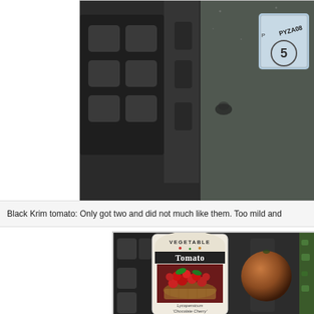[Figure (photo): Close-up photo of a dark plastic seed tray on a surface, with a paper tag/label visible in the upper right corner showing text 'PYZA08' and a circled number 5. Photo is cropped and shows the Black Krim tomato context.]
Black Krim tomato: Only got two and did not much like them. Too mild and
[Figure (photo): Photo of a dark plastic seed/plant tray with a seed packet label standing in it reading 'VEGETABLE TOMATO' with an image of red cherry tomatoes in a basket, and text 'Lycopersicum Chocolate Cherry' at the bottom. Next to the label is a single round brownish-red tomato fruit.]